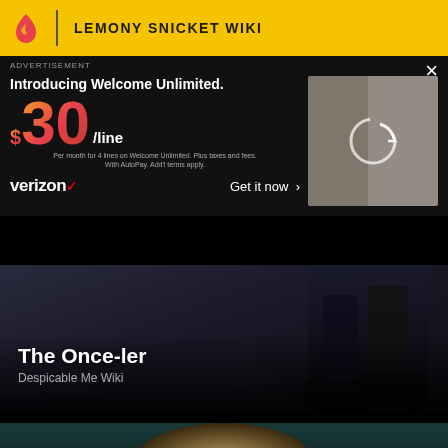LEMONY SNICKET WIKI
[Figure (screenshot): Verizon advertisement overlay on dark background. Text: 'Introducing Welcome Unlimited. $30/line. Per month for 4 lines on Welcome Unlimited. Plus taxes and fees. With AutoPay. Add'l terms apply. verizon Get it now >']
[Figure (screenshot): Wiki article card showing dark moody background with person's legs/feet visible. Title: 'The Once-ler', subtitle: 'Despicable Me Wiki']
[Figure (photo): Close-up photo of a young male character with light brown/blonde hair against a dark teal background]